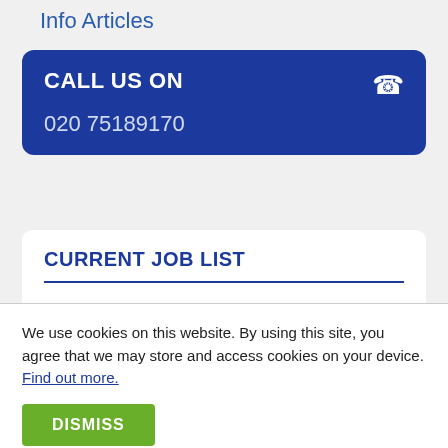Info Articles
CALL US ON
020 75189170
CURRENT JOB LIST
Industry
We use cookies on this website. By using this site, you agree that we may store and access cookies on your device. Find out more.
DISMISS